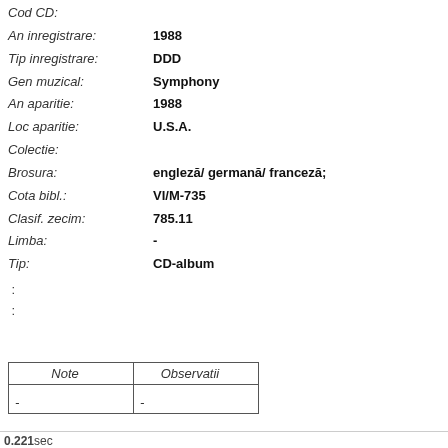Cod CD:
An inregistrare: 1988
Tip inregistrare: DDD
Gen muzical: Symphony
An aparitie: 1988
Loc aparitie: U.S.A.
Colectie:
Brosura: engleză/ germană/ franceză;
Cota bibl.: VI/M-735
Clasif. zecim: 785.11
Limba: -
Tip: CD-album
:
:
| Note | Observatii |
| --- | --- |
| - | - |
0.221sec